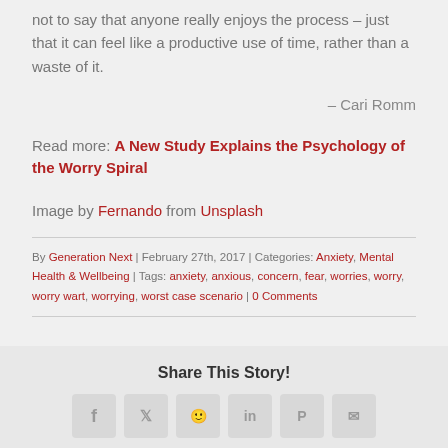not to say that anyone really enjoys the process – just that it can feel like a productive use of time, rather than a waste of it.
– Cari Romm
Read more: A New Study Explains the Psychology of the Worry Spiral
Image by Fernando from Unsplash
By Generation Next | February 27th, 2017 | Categories: Anxiety, Mental Health & Wellbeing | Tags: anxiety, anxious, concern, fear, worries, worry, worry wart, worrying, worst case scenario | 0 Comments
Share This Story!